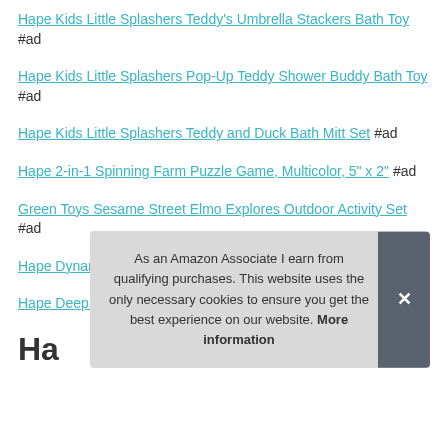Hape Kids Little Splashers Teddy's Umbrella Stackers Bath Toy #ad
Hape Kids Little Splashers Pop-Up Teddy Shower Buddy Bath Toy #ad
Hape Kids Little Splashers Teddy and Duck Bath Mitt Set #ad
Hape 2-in-1 Spinning Farm Puzzle Game, Multicolor, 5" x 2" #ad
Green Toys Sesame Street Elmo Explores Outdoor Activity Set #ad
Hape Dynamic Pet Puzzle Game, Multicolor, 5" x 2" #ad
Hape Deep Sea Discovery Puzzle Game, Multicolor, 5" x 2" #ad
As an Amazon Associate I earn from qualifying purchases. This website uses the only necessary cookies to ensure you get the best experience on our website. More information
Ha